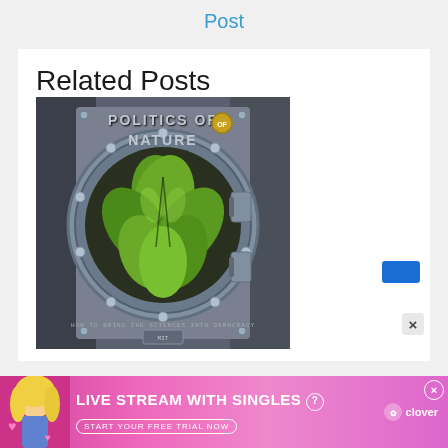Post
Related Posts
[Figure (photo): Book cover for 'Politics of Nature' showing an industrial metallic circular vault/porthole design with green plant-like organic shapes inside, text reads 'POLITICS OF NATURE' and 'HOW TO BRING THE SCIENCES INTO DEMOCRACY']
[Figure (photo): Advertisement banner: 'LIVE STREAM WITH SINGLES' with 'START YOUR FREE TRIAL NOW' and Clover logo, featuring a blonde woman with pink hearts]